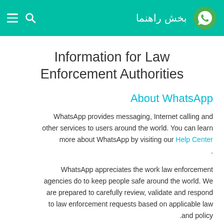بخش راهنما
Information for Law Enforcement Authorities
About WhatsApp
WhatsApp provides messaging, Internet calling and other services to users around the world. You can learn more about WhatsApp by visiting our Help Center.
WhatsApp appreciates the work law enforcement agencies do to keep people safe around the world. We are prepared to carefully review, validate and respond to law enforcement requests based on applicable law and policy.